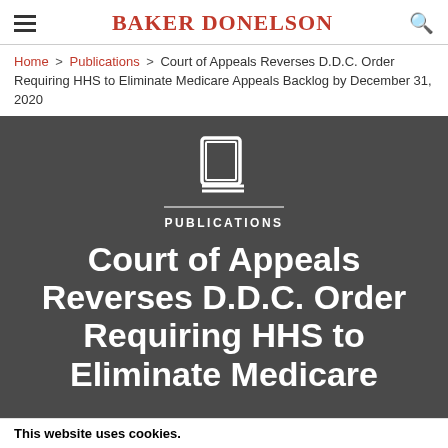BAKER DONELSON
Home > Publications > Court of Appeals Reverses D.D.C. Order Requiring HHS to Eliminate Medicare Appeals Backlog by December 31, 2020
[Figure (screenshot): Dark grey hero banner with a white book/publications icon, a horizontal divider line, 'PUBLICATIONS' label in white uppercase, and large white bold title text: 'Court of Appeals Reverses D.D.C. Order Requiring HHS to Eliminate Medicare']
This website uses cookies.